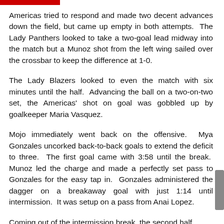Americas tried to respond and made two decent advances down the field, but came up empty in both attempts.  The Lady Panthers looked to take a two-goal lead midway into the match but a Munoz shot from the left wing sailed over the crossbar to keep the difference at 1-0.
The Lady Blazers looked to even the match with six minutes until the half.  Advancing the ball on a two-on-two set, the Americas' shot on goal was gobbled up by goalkeeper Maria Vasquez.
Mojo immediately went back on the offensive.  Mya Gonzales uncorked back-to-back goals to extend the deficit to three.  The first goal came with 3:58 until the break.  Munoz led the charge and made a perfectly set pass to Gonzales for the easy tap in.  Gonzales administered the dagger on a breakaway goal with just 1:14 until intermission.  It was setup on a pass from Anai Lopez.
Coming out of the intermission break, the second half